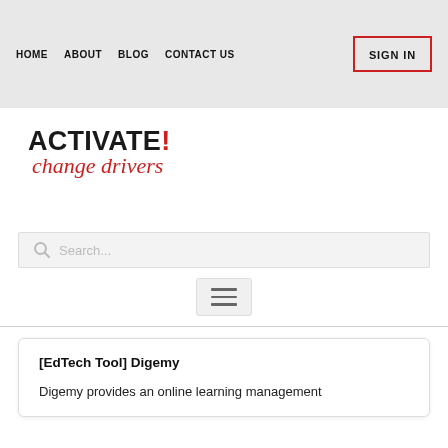HOME  ABOUT  BLOG  CONTACT US
[Figure (logo): ACTIVATE! change drivers logo — bold black uppercase ACTIVATE with red exclamation mark, red cursive 'change drivers' below]
Search...
[Figure (other): Hamburger menu icon with three horizontal lines]
[EdTech Tool] Digemy
Digemy provides an online learning management